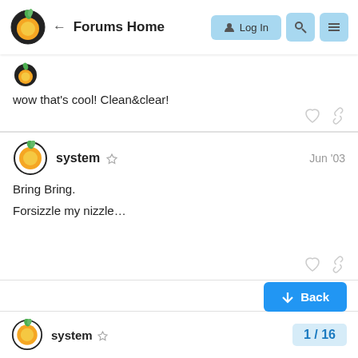Forums Home
wow that's cool! Clean&clear!
system  Jun '03
Bring Bring.

Forsizzle my nizzle...
system
1 / 16